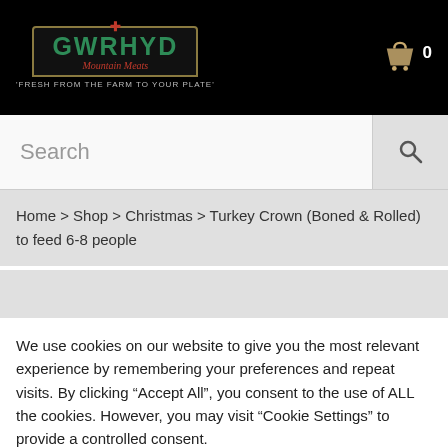[Figure (logo): Gwrhyd Mountain Meats logo with cross emblem, green text on dark background, tagline 'Fresh from the farm to your plate']
Search
Home > Shop > Christmas > Turkey Crown (Boned & Rolled) to feed 6-8 people
We use cookies on our website to give you the most relevant experience by remembering your preferences and repeat visits. By clicking "Accept All", you consent to the use of ALL the cookies. However, you may visit "Cookie Settings" to provide a controlled consent.